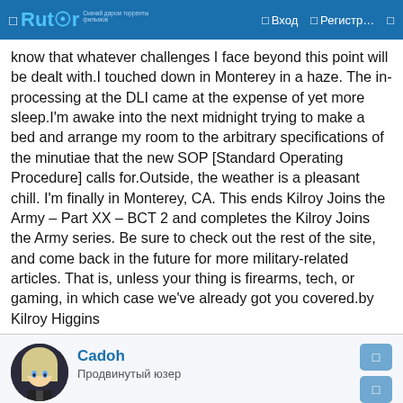Rutor — Вход — Регистр...
know that whatever challenges I face beyond this point will be dealt with.I touched down in Monterey in a haze. The in-processing at the DLI came at the expense of yet more sleep.I'm awake into the next midnight trying to make a bed and arrange my room to the arbitrary specifications of the minutiae that the new SOP [Standard Operating Procedure] calls for.Outside, the weather is a pleasant chill. I'm finally in Monterey, CA. This ends Kilroy Joins the Army – Part XX – BCT 2 and completes the Kilroy Joins the Army series. Be sure to check out the rest of the site, and come back in the future for more military-related articles. That is, unless your thing is firearms, tech, or gaming, in which case we've already got you covered.by Kilroy Higgins
Cadoh
Продвинутый юзер
24/05/2022
#7